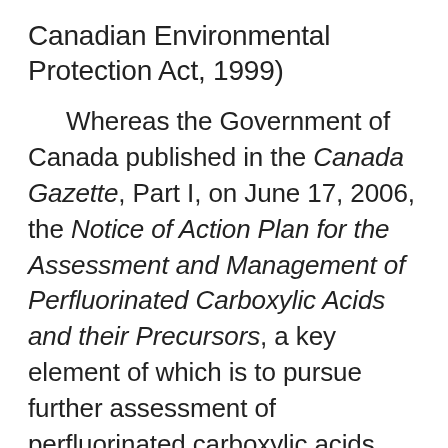Canadian Environmental Protection Act, 1999)
Whereas the Government of Canada published in the Canada Gazette, Part I, on June 17, 2006, the Notice of Action Plan for the Assessment and Management of Perfluorinated Carboxylic Acids and their Precursors, a key element of which is to pursue further assessment of perfluorinated carboxylic acids (PFCAs) and precursor substances already in Canadian commerce in order to guide further risk management actions, as needed;